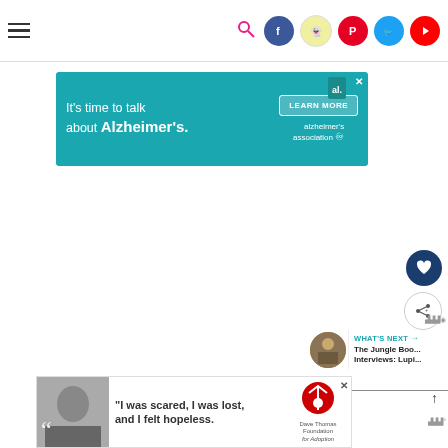Navigation bar with hamburger menu and social media icons
[Figure (screenshot): Teal advertisement banner: 'It's time to talk about Alzheimer's.' with LEARN MORE button and Alzheimer's Association logo. Close button in top right.]
[Figure (infographic): Heart (favorite) button — dark navy circle with white heart icon]
[Figure (infographic): Share button — white circle with share icon]
WHAT'S NEXT → The Jungle Boo... Interviews: Lupi...
[Figure (screenshot): Opening quotation mark divider — two large 66 quote marks between horizontal lines]
[Figure (screenshot): Bottom advertisement banner: '"I was scared, I was lost, and I felt hopeless."' with Dave Thomas Foundation for Adoption logo. Close button in top right.]